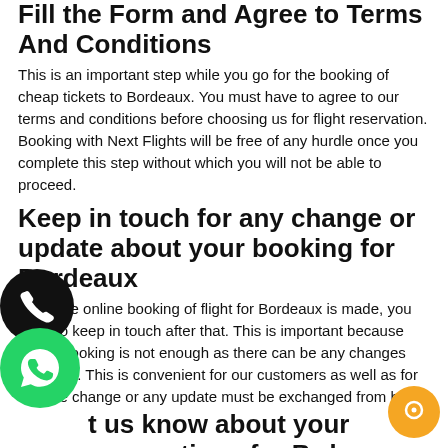Fill the Form and Agree to Terms And Conditions
This is an important step while you go for the booking of cheap tickets to Bordeaux. You must have to agree to our terms and conditions before choosing us for flight reservation. Booking with Next Flights will be free of any hurdle once you complete this step without which you will not be able to proceed.
Keep in touch for any change or update about your booking for Bordeaux
Once the online booking of flight for Bordeaux is made, you need to keep in touch after that. This is important because online booking is not enough as there can be any changes after that. This is convenient for our customers as well as for us. The change or any update must be exchanged from both sides.
Let us know about your reservations for Bordeaux
As we have made booking for cheap flights to Bordeaux easier for you, during and after using our services you have